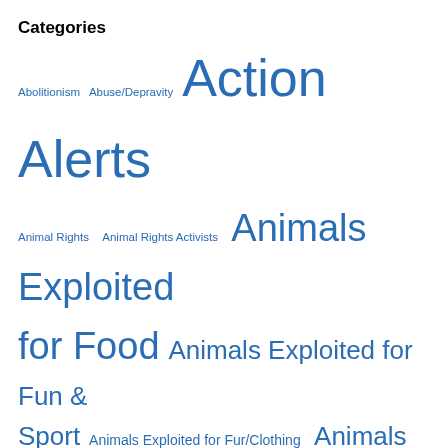Categories
Abolitionism Abuse/Depravity Action Alerts Animal Rights Animal Rights Activists Animals Exploited for Food Animals Exploited for Fun & Sport Animals Exploited for Fur/Clothing Animals Exploited for Ritual Capitalism/Poverty Carnism Censorship Children's Rights Companion Animals Compassion Empathy Environment Feminism Government Health Humane Myth Human Rights Hypocrisy and Duplicity Legal & Law Issues Morality Oppression Our Compass Politics Profit vs. Decency Racism Religion Rescued Animals Speciesism Veganism Vivisection / Testing